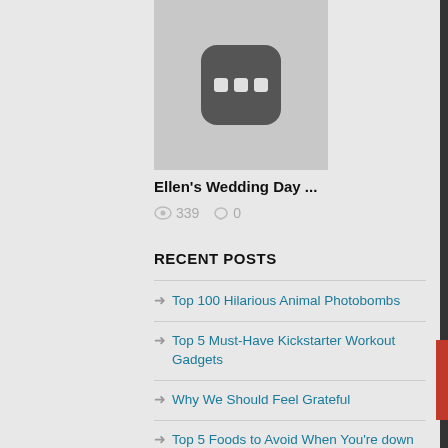[Figure (photo): Placeholder image with a dark rounded square icon containing three small rectangles (dots), on a light gray background]
Ellen's Wedding Day ...
339  0
RECENT POSTS
Top 100 Hilarious Animal Photobombs
Top 5 Must-Have Kickstarter Workout Gadgets
Why We Should Feel Grateful
Top 5 Foods to Avoid When You're down with Cold or Flu
Top 8 Simple Brand Logos That Are Super Clever